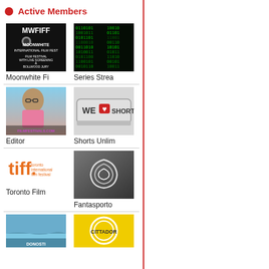Active Members
[Figure (photo): Moonwhite Fi - MWFIFF Moonwhite International Film Fest logo on black background]
[Figure (photo): Series Strea - green digital rain / matrix code background]
[Figure (photo): Editor - filmfestivals.com editor person photo]
[Figure (photo): Shorts Unlim - WE LOVE SHORTS license plate sign]
[Figure (logo): Toronto Film - tiff toronto international film festival logo]
[Figure (photo): Fantasporto - abstract circular logo on dark background]
[Figure (photo): Donosti - coastal landscape photo]
[Figure (logo): CITTADOR - yellow background with CITTADOR text and circular logo]